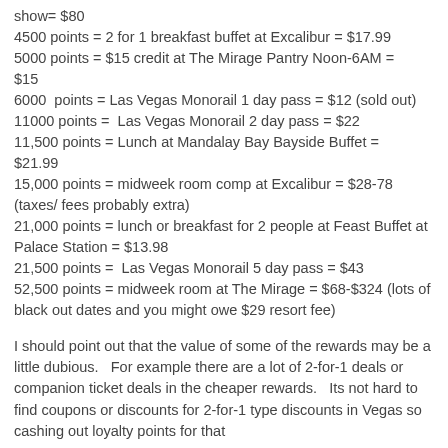show= $80
4500 points = 2 for 1 breakfast buffet at Excalibur = $17.99
5000 points = $15 credit at The Mirage Pantry Noon-6AM = $15
6000  points = Las Vegas Monorail 1 day pass = $12 (sold out)
11000 points =  Las Vegas Monorail 2 day pass = $22
11,500 points = Lunch at Mandalay Bay Bayside Buffet = $21.99
15,000 points = midweek room comp at Excalibur = $28-78 (taxes/ fees probably extra)
21,000 points = lunch or breakfast for 2 people at Feast Buffet at Palace Station = $13.98
21,500 points =  Las Vegas Monorail 5 day pass = $43
52,500 points = midweek room at The Mirage = $68-$324 (lots of black out dates and you might owe $29 resort fee)
I should point out that the value of some of the rewards may be a little dubious.   For example there are a lot of 2-for-1 deals or companion ticket deals in the cheaper rewards.   Its not hard to find coupons or discounts for 2-for-1 type discounts in Vegas so cashing out loyalty points for that